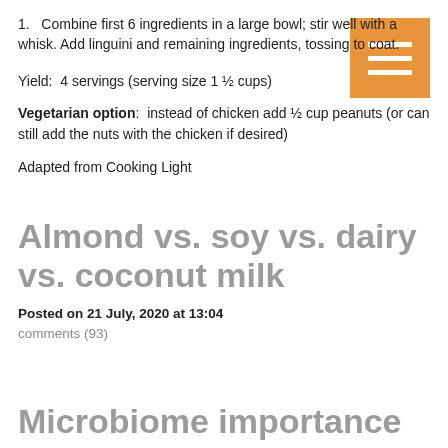1.   Combine first 6 ingredients in a large bowl; stir well with a whisk. Add linguini and remaining ingredients, tossing to coat.
[Figure (other): Orange square button with three white horizontal lines (hamburger menu icon)]
Yield:  4 servings (serving size 1 ½ cups)
Vegetarian option:  instead of chicken add ½ cup peanuts (or can still add the nuts with the chicken if desired)
Adapted from Cooking Light
Almond vs. soy vs. dairy vs. coconut milk
Posted on 21 July, 2020 at 13:04
comments (93)
Microbiome importance
Posted on 14 July, 2020 at 16:33